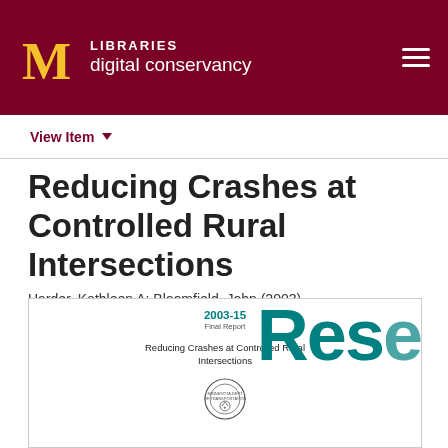LIBRARIES digital conservancy
View Item
Reducing Crashes at Controlled Rural Intersections
Harder, Kathleen A; Bloomfield, John (2003)
[Figure (screenshot): Thumbnail cover page of the report '2003-15 Final Report: Reducing Crashes at Controlled Rural Intersections' with teal 'Rese...' text and Minnesota Department of Transportation logo]